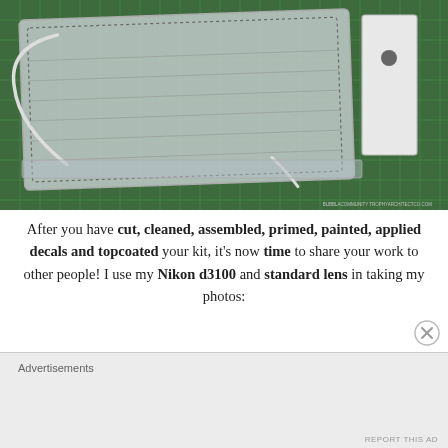[Figure (photo): A folded face mask in a clear plastic bag with ear loops, placed on a green cutting mat. A white rectangular tab piece with a hole is to the right. Small watermark text in bottom-right corner.]
After you have cut, cleaned, assembled, primed, painted, applied decals and topcoated your kit, it's now time to share your work to other people! I use my Nikon d3100 and standard lens in taking my photos:
Advertisements